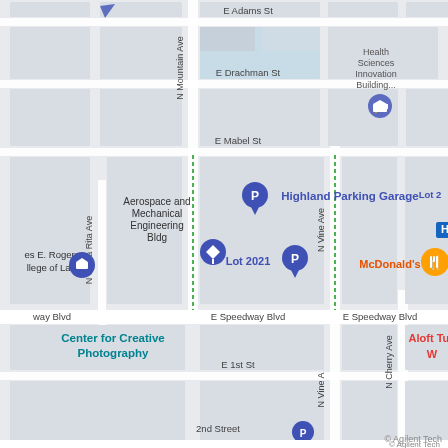[Figure (map): Google Maps screenshot showing the University of Arizona area in Tucson, AZ. Streets visible include E Adams St, N Mountain Ave, E Drachman St, E Mabel St, N Santa Rita Ave, E Speedway Blvd, E 1st St, N Vine Ave, N Cherry Ave. Landmarks include Health Sciences Innovation Building, Aerospace and Mechanical Engineering Bldg, Highland Parking Garage, Lot 2021, Lot 2, Center for Creative Photography, McDonald's, Aloft Tucson, James E. Rogers College of Law, and 2nd Street parking. Map pins for parking (P) and education markers are visible.]
© Agilent Tech